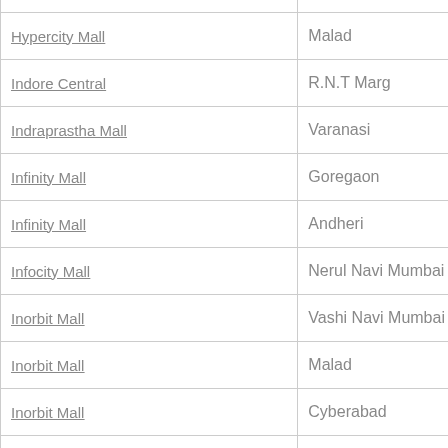| Mall Name | Location |
| --- | --- |
| Hyderabad Central | Panjagutta |
| Hypercity Mall | Malad |
| Indore Central | R.N.T Marg |
| Indraprastha Mall | Varanasi |
| Infinity Mall | Goregaon |
| Infinity Mall | Andheri |
| Infocity Mall | Nerul Navi Mumbai |
| Inorbit Mall | Vashi Navi Mumbai |
| Inorbit Mall | Malad |
| Inorbit Mall | Cyberabad |
| Inorbit Mall | Mumbai |
| Inox Leisure Mall | Bund Garden Road |